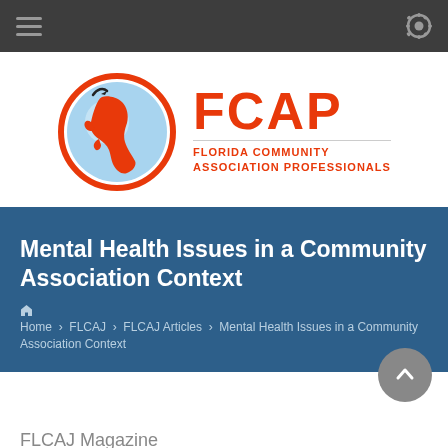Navigation bar with hamburger menu and settings icon
[Figure (logo): FCAP Florida Community Association Professionals logo with Florida state map inside circle]
Mental Health Issues in a Community Association Context
Home > FLCAJ > FLCAJ Articles > Mental Health Issues in a Community Association Context
FLCAJ Magazine